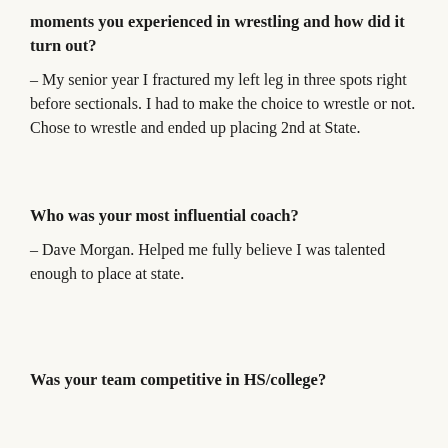moments you experienced in wrestling and how did it turn out?
– My senior year I fractured my left leg in three spots right before sectionals. I had to make the choice to wrestle or not. Chose to wrestle and ended up placing 2nd at State.
Who was your most influential coach?
– Dave Morgan. Helped me fully believe I was talented enough to place at state.
Was your team competitive in HS/college?